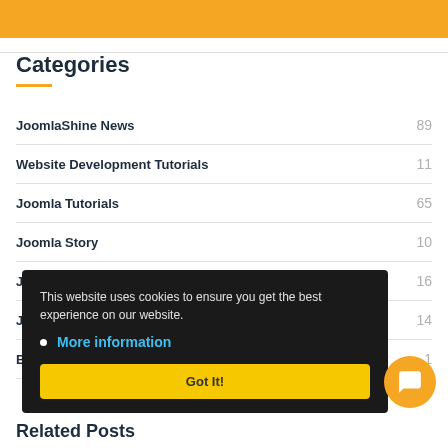[Figure (illustration): Orange banner at the top of the page]
Categories
JoomlaShine News 89
Website Development Tutorials 11
Joomla Tutorials 65
Joomla Story 10
J... 16
J... 14
B... 1
This website uses cookies to ensure you get the best experience on our website. More information Got It!
Related Posts